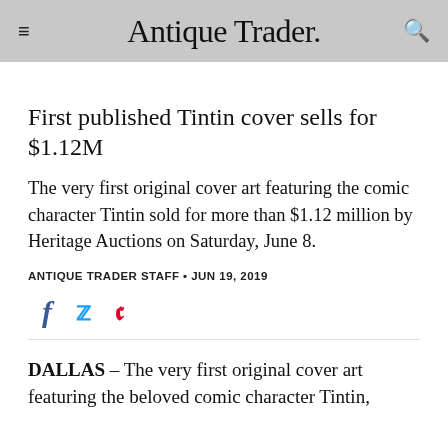Antique Trader
First published Tintin cover sells for $1.12M
The very first original cover art featuring the comic character Tintin sold for more than $1.12 million by Heritage Auctions on Saturday, June 8.
ANTIQUE TRADER STAFF • JUN 19, 2019
[Figure (other): Social share icons: Facebook (f), Twitter (bird), Pinterest (P)]
DALLAS – The very first original cover art featuring the beloved comic character Tintin,